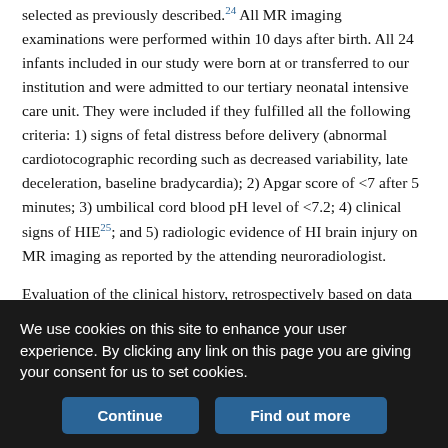selected as previously described.24 All MR imaging examinations were performed within 10 days after birth. All 24 infants included in our study were born at or transferred to our institution and were admitted to our tertiary neonatal intensive care unit. They were included if they fulfilled all the following criteria: 1) signs of fetal distress before delivery (abnormal cardiotocographic recording such as decreased variability, late deceleration, baseline bradycardia); 2) Apgar score of <7 after 5 minutes; 3) umbilical cord blood pH level of <7.2; 4) clinical signs of HIE25; and 5) radiologic evidence of HI brain injury on MR imaging as reported by the attending neuroradiologist.
Evaluation of the clinical history, retrospectively based on data from individual patient documentation, was performed by 1 author (S.V., having 23 years of experience in neonatology and neonatal follow-
We use cookies on this site to enhance your user experience. By clicking any link on this page you are giving your consent for us to set cookies.